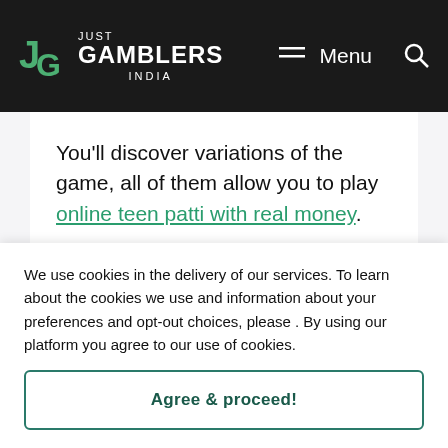JG JUST GAMBLERS INDIA — Menu [search icon]
You'll discover variations of the game, all of them allow you to play online teen patti with real money.
Andar Bahar
We use cookies in the delivery of our services. To learn about the cookies we use and information about your preferences and opt-out choices, please . By using our platform you agree to our use of cookies.
Agree & proceed!